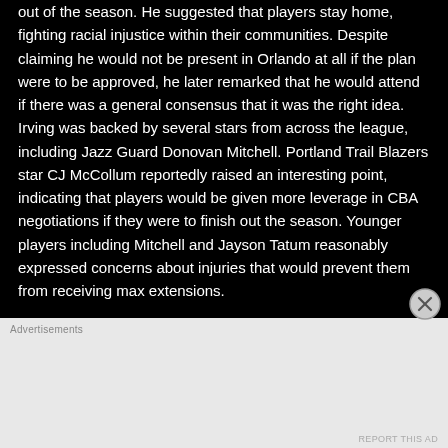out of the season. He suggested that players stay home, fighting racial injustice within their communities. Despite claiming he would not be present in Orlando at all if the plan were to be approved, he later remarked that he would attend if there was a general consensus that it was the right idea. Irving was backed by several stars from across the league, including Jazz Guard Donovan Mitchell. Portland Trail Blazers star CJ McCollum reportedly raised an interesting point, indicating that players would be given more leverage in CBA negotiations if they were to finish out the season. Younger players including Mitchell and Jayson Tatum reasonably expressed concerns about injuries that would prevent them from receiving max extensions.

24 year old Memphis forward, Justice Winslow launched a
[Figure (other): Advertisement banner area at the bottom of the page with a light gray background and 'Advertisements' label. A close button (circled X) appears in the upper right of the ad area.]